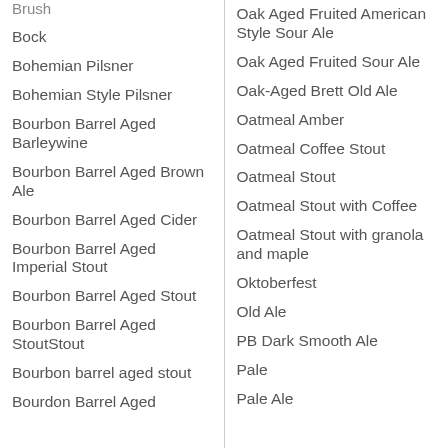Brush
Bock
Bohemian Pilsner
Bohemian Style Pilsner
Bourbon Barrel Aged Barleywine
Bourbon Barrel Aged Brown Ale
Bourbon Barrel Aged Cider
Bourbon Barrel Aged Imperial Stout
Bourbon Barrel Aged Stout
Bourbon Barrel Aged StoutStout
Bourbon barrel aged stout
Bourdon Barrel Aged
Oak Aged Fruited American Style Sour Ale
Oak Aged Fruited Sour Ale
Oak-Aged Brett Old Ale
Oatmeal Amber
Oatmeal Coffee Stout
Oatmeal Stout
Oatmeal Stout with Coffee
Oatmeal Stout with granola and maple
Oktoberfest
Old Ale
PB Dark Smooth Ale
Pale
Pale Ale